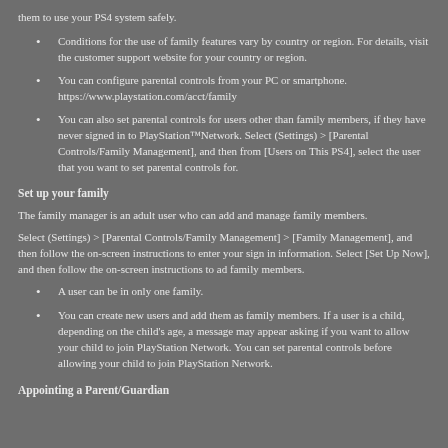them to use your PS4 system safely.
Conditions for the use of family features vary by country or region. For details, visit the customer support website for your country or region.
You can configure parental controls from your PC or smartphone. https://www.playstation.com/acct/family
You can also set parental controls for users other than family members, if they have never signed in to PlayStation™Network. Select (Settings) > [Parental Controls/Family Management], and then from [Users on This PS4], select the user that you want to set parental controls for.
Set up your family
The family manager is an adult user who can add and manage family members.
Select (Settings) > [Parental Controls/Family Management] > [Family Management], and then follow the on-screen instructions to enter your sign in information. Select [Set Up Now], and then follow the on-screen instructions to add family members.
A user can be in only one family.
You can create new users and add them as family members. If a user is a child, depending on the child's age, a message may appear asking if you want to allow your child to join PlayStation Network. You can set parental controls before allowing your child to join PlayStation Network.
Appointing a Parent/Guardian